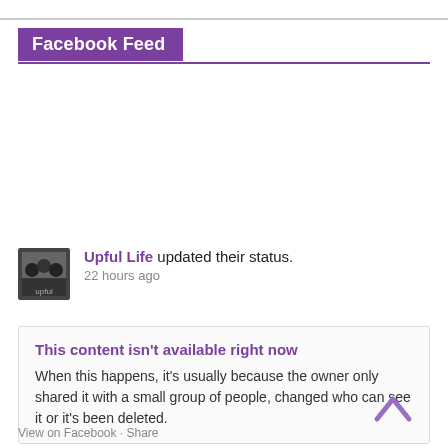Facebook Feed
Upful Life updated their status.
22 hours ago
This content isn't available right now
When this happens, it's usually because the owner only shared it with a small group of people, changed who can see it or it's been deleted.
View on Facebook · Share